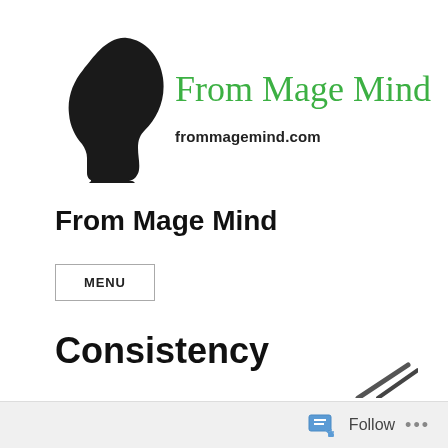[Figure (logo): Black silhouette of a human head facing left, serving as the site logo for From Mage Mind]
From Mage Mind
frommagemind.com
From Mage Mind
MENU
Consistency
Follow ...